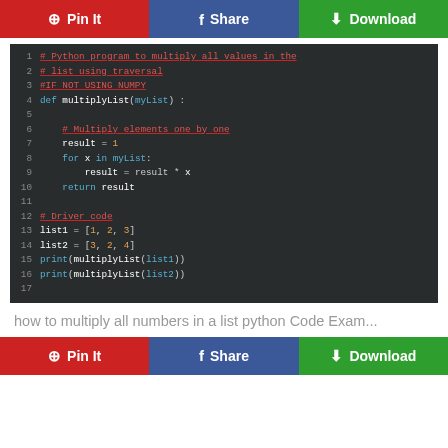[Figure (screenshot): Top social sharing bar with Pin It (red), Share (blue), Download (green) buttons]
[Figure (screenshot): Python code snippet on dark background showing a program to multiply all values in a list using traversal without NumPy. Lines 1-17 shown with syntax highlighting.]
how to multiply all numbers in a list python Code Exam...
[Figure (screenshot): Bottom social sharing bar with Pin It (red), Share (blue), Download (green) buttons]